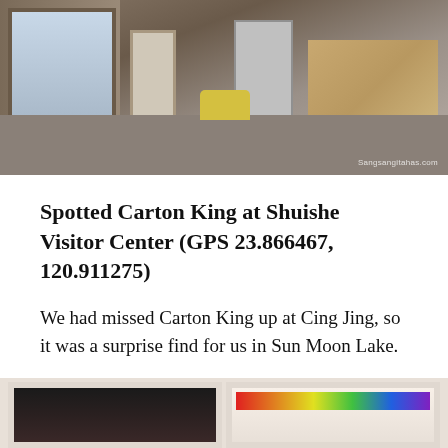[Figure (photo): Interior scene showing a wooden-framed window on the left wall, a white refrigerator in the center-right, cardboard/brown boxes on the right, yellow/green sneakers on the floor, with a watermark reading 'Sangsangitahas.com' at bottom right.]
Spotted Carton King at Shuishe Visitor Center (GPS 23.866467, 120.911275)
We had missed Carton King up at Cing Jing, so it was a surprise find for us in Sun Moon Lake.
Perhaps the “paper boat” (below) is designed with Sun Moon Lake’s water theme in mind?
[Figure (photo): Bottom partial image showing two framed photos side by side: left one is dark/black image, right one shows a colorful rainbow-striped graphic element.]